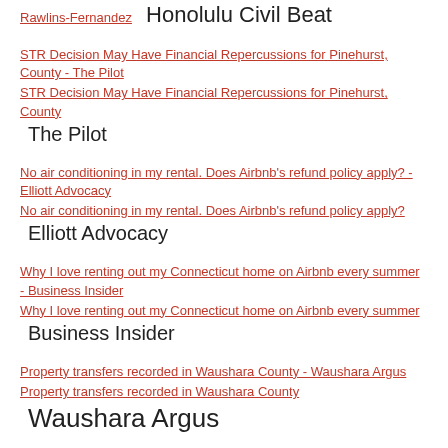Rawlins-Fernandez  Honolulu Civil Beat
STR Decision May Have Financial Repercussions for Pinehurst, County - The Pilot | STR Decision May Have Financial Repercussions for Pinehurst, County  The Pilot
No air conditioning in my rental. Does Airbnb's refund policy apply? - Elliott Advocacy | No air conditioning in my rental. Does Airbnb's refund policy apply?  Elliott Advocacy
Why I love renting out my Connecticut home on Airbnb every summer - Business Insider | Why I love renting out my Connecticut home on Airbnb every summer  Business Insider
Property transfers recorded in Waushara County - Waushara Argus | Property transfers recorded in Waushara County  Waushara Argus